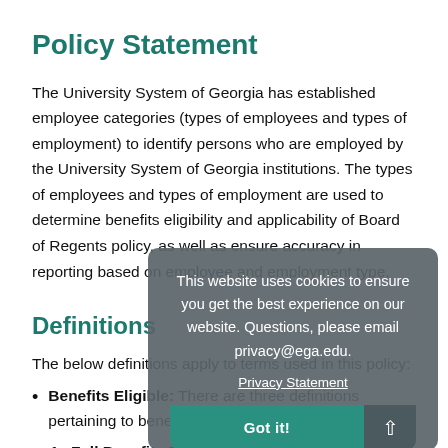Policy Statement
The University System of Georgia has established employee categories (types of employees and types of employment) to identify persons who are employed by the University System of Georgia institutions. The types of employees and types of employment are used to determine benefits eligibility and applicability of Board of Regents policy, as well as ensure accuracy in reporting based on employee and employment type.
Definitions
The below definitions apply to terms used in this policy:
Benefits Eligible: There are three definitions pertaining to benefits eligible as described below:
Full Benefits Eligible: This is defined as 30 or more...
[Figure (other): Cookie consent overlay popup with text: 'This website uses cookies to ensure you get the best experience on our website. Questions, please email privacy@ega.edu.' with a 'Privacy Statement' link, a 'Got it!' button, and an up-arrow button.]